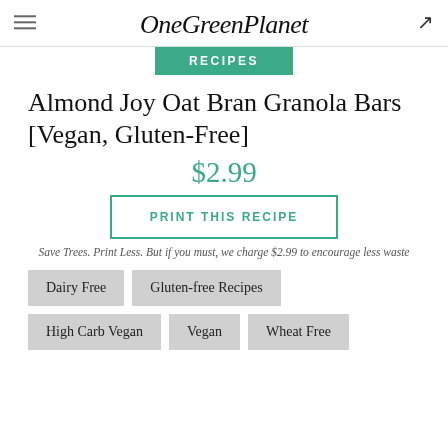OneGreenPlanet
RECIPES
Almond Joy Oat Bran Granola Bars [Vegan, Gluten-Free]
$2.99
PRINT THIS RECIPE
Save Trees. Print Less. But if you must, we charge $2.99 to encourage less waste
Dairy Free
Gluten-free Recipes
High Carb Vegan
Vegan
Wheat Free